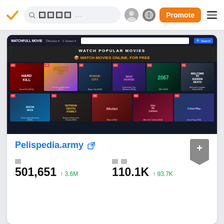Navigation bar with logo, search, avatar, globe, Promote button, menu
[Figure (screenshot): Screenshot of watchfullmovie / Pelispedia.army website showing 'WATCH POPULAR MOVIES' and movie posters grid including Hard Kill, SpongeBob, Rogue City, Warhorse, 2067, Welcome to Sudden Death, Snowman, Batman Death of Family, Mulan, and others]
Pelispedia.army
501,651  ↑ 3.6M
110.1K  ↑ 93.7K